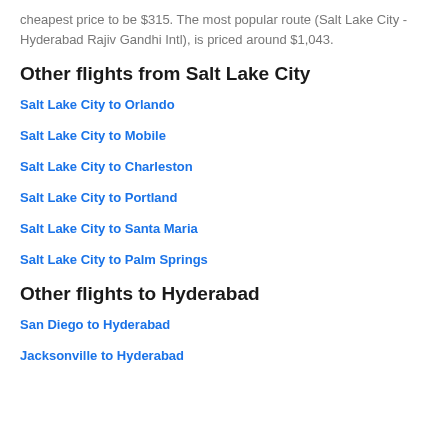cheapest price to be $315. The most popular route (Salt Lake City - Hyderabad Rajiv Gandhi Intl), is priced around $1,043.
Other flights from Salt Lake City
Salt Lake City to Orlando
Salt Lake City to Mobile
Salt Lake City to Charleston
Salt Lake City to Portland
Salt Lake City to Santa Maria
Salt Lake City to Palm Springs
Other flights to Hyderabad
San Diego to Hyderabad
Jacksonville to Hyderabad